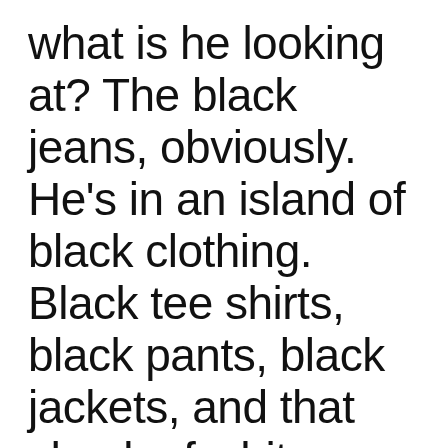what is he looking at? The black jeans, obviously. He's in an island of black clothing. Black tee shirts, black pants, black jackets, and that shock of white hedgehog that sits on top of the Jarmusch head, like a puffy cloud